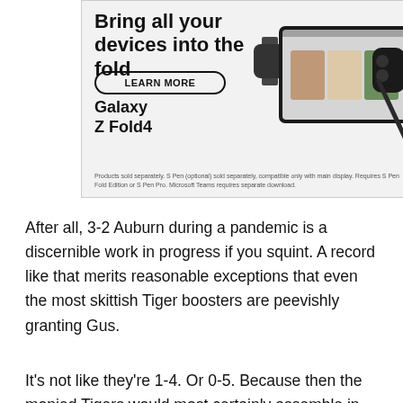[Figure (other): Samsung Galaxy Z Fold4 advertisement. Shows headline 'Bring all your devices into the fold', a 'LEARN MORE' button, product name 'Galaxy Z Fold4', product images of a smartwatch, folded tablet displaying a video call with three people, wireless earbuds, and a stylus pen. Small disclaimer text at bottom.]
After all, 3-2 Auburn during a pandemic is a discernible work in progress if you squint. A record like that merits reasonable exceptions that even the most skittish Tiger boosters are peevishly granting Gus.
It's not like they're 1-4. Or 0-5. Because then the monied Tigers would most certainly assemble in the smoke-filled rooms — even during a generational pandemic causing catastrophic economic damage not only to the country but